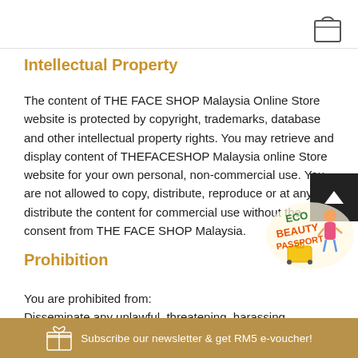[Figure (logo): Shopping bag icon in the top right corner]
Intellectual Property
The content of THE FACE SHOP Malaysia Online Store website is protected by copyright, trademarks, database and other intellectual property rights. You may retrieve and display content of THEFACESHOP Malaysia online Store website for your own personal, non-commercial use. You are not allowed to copy, distribute, reproduce or at any form distribute the content for commercial use without the consent from THE FACE SHOP Malaysia.
Prohibition
You are prohibited from:
Disseminate any unlawful, threatening, harassing, threatening, harmful, obscene, vulgar or objectionable
[Figure (illustration): Eco Beauty Passport promotional badge with a woman figure and yellow suitcase]
Subscribe our newsletter & get RM5 e-voucher!